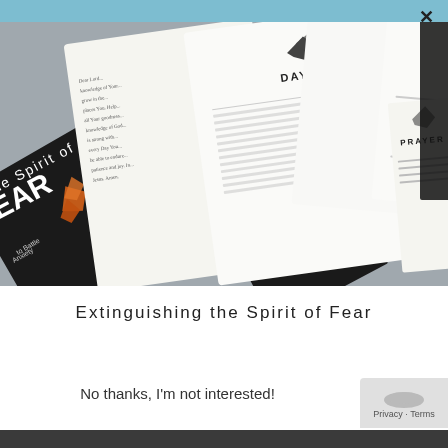[Figure (photo): Spread of book pages showing 'Extinguishing the Spirit of Fear' devotional book with chapters: Day 1, Day 1 Questions, Prayer. Open pages show text content and a geometric bird logo. Dark cover books with orange bird also visible.]
Extinguishing the Spirit of Fear
No thanks, I'm not interested!